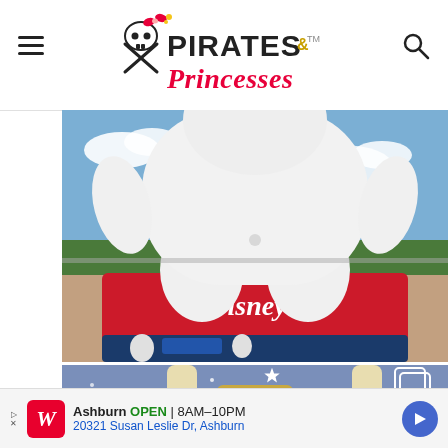Pirates & Princesses
[Figure (photo): Giant inflatable Baymax character from Big Hero 6 standing on a red Disney+ branded platform, photographed from below against a blue sky with clouds.]
[Figure (photo): Close-up of a sparkly denim Loungefly bag or accessory with cream leather trim and a Cinderella/Disney themed patch.]
Ashburn OPEN 8AM–10PM 20321 Susan Leslie Dr, Ashburn